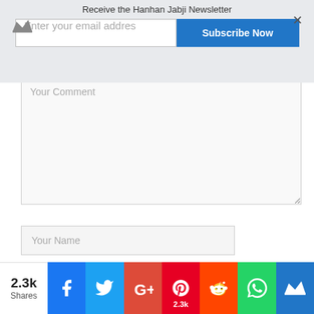[Figure (screenshot): Newsletter subscription banner with crown icon, email input field, Subscribe Now button, and close X button. Text: Receive the Hanhan Jabji Newsletter]
Your Comment
Your Name
Your Email
Your Website
[Figure (screenshot): Social share bar with 2.3k Shares count, Facebook, Twitter, Google+, Pinterest (2.3k), Reddit, WhatsApp, and crown icon buttons]